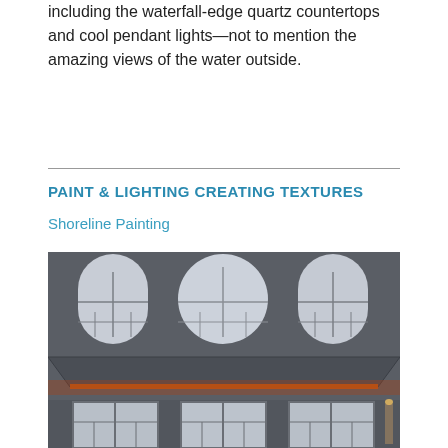including the waterfall-edge quartz countertops and cool pendant lights—not to mention the amazing views of the water outside.
PAINT & LIGHTING CREATING TEXTURES
Shoreline Painting
[Figure (photo): Interior room photo showing a high ceiling with a tray ceiling detail lit by warm orange LED accent lighting. Large multi-pane windows are visible on the upper and lower portions of the room. The room is painted in a dark gray/charcoal color.]